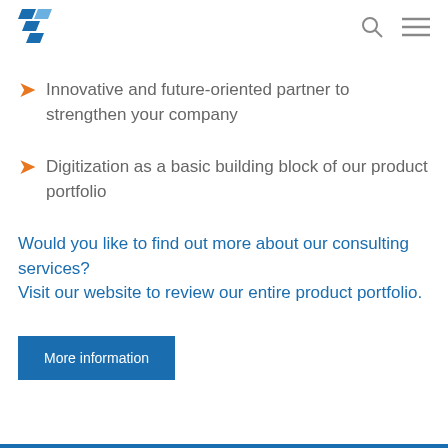[Figure (logo): Blue diagonal stripe logo in top left corner]
Innovative and future-oriented partner to strengthen your company
Digitization as a basic building block of our product portfolio
Would you like to find out more about our consulting services?
Visit our website to review our entire product portfolio.
More information